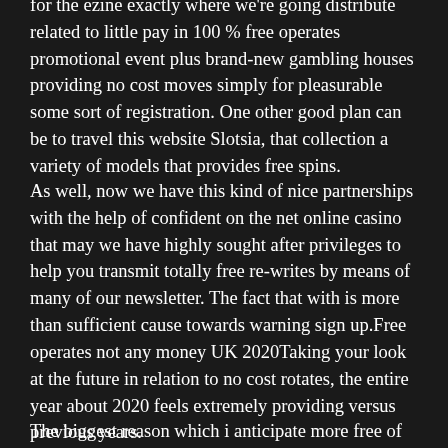for the ezine exactly where we're going distribute related to little pay in 100 % free operates promotional event plus brand-new gambling houses providing no cost moves simply for pleasurable some sort of registration. One other good plan can be to travel this website Slotsia, that collection a variety of models that provides free spins.
As well, now we have this kind of nice partnerships with the help of confident on the net online casino that may we have highly sought after privileges to help you transmit totally free re-writes by means of many of our newsletter. The fact that with is more than sufficient cause towards warning sign up.Free operates not any money UK 2020Taking your look at the future in relation to no cost rotates, the entire year about 2020 feels extremely providing versus previous years.
The biggest reason which i anticipate more free of cost